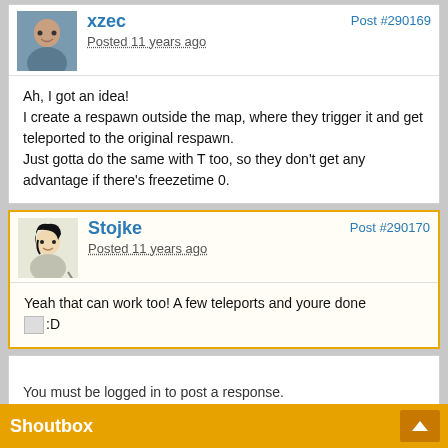xzec
Posted 11 years ago
Post #290169
Ah, I got an idea!
I create a respawn outside the map, where they trigger it and get teleported to the original respawn.
Just gotta do the same with T too, so they don't get any advantage if there's freezetime 0.
Stojke
Posted 11 years ago
Post #290170
Yeah that can work too! A few teleports and youre done
[emoji]:D
You must be logged in to post a response.
Shoutbox